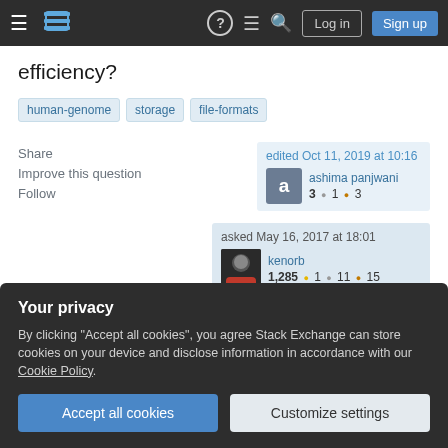Stack Exchange navigation bar with Log in and Sign up buttons
efficiency?
human-genome
storage
file-formats
Share
Improve this question
Follow
edited Oct 11, 2019 at 10:16
ashima panjwani
3 ●1 ●3
asked May 16, 2017 at 18:01
kenorb
1,285 ●1 ●11 ●15
Your privacy
By clicking "Accept all cookies", you agree Stack Exchange can store cookies on your device and disclose information in accordance with our Cookie Policy.
Accept all cookies
Customize settings